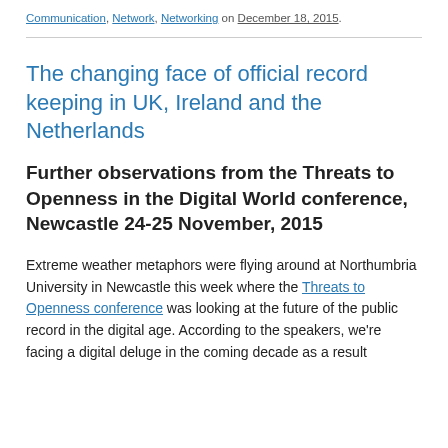Communication, Network, Networking on December 18, 2015.
The changing face of official record keeping in UK, Ireland and the Netherlands
Further observations from the Threats to Openness in the Digital World conference, Newcastle 24-25 November, 2015
Extreme weather metaphors were flying around at Northumbria University in Newcastle this week where the Threats to Openness conference was looking at the future of the public record in the digital age. According to the speakers, we're facing a digital deluge in the coming decade as a result